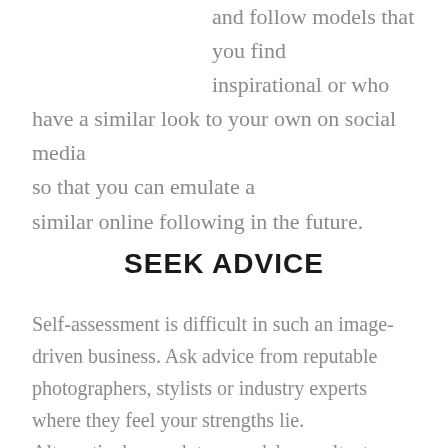and follow models that you find inspirational or who have a similar look to your own on social media so that you can emulate a similar online following in the future.
SEEK ADVICE
Self-assessment is difficult in such an image-driven business. Ask advice from reputable photographers, stylists or industry experts where they feel your strengths lie. Alternatively, speak to a model consultant or even friends to get an honest answer. Once you know yourself,